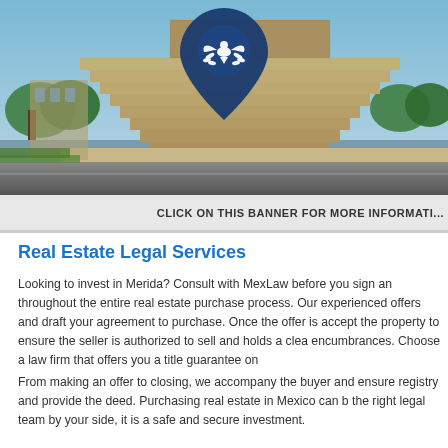[Figure (photo): Banner image of an ancient stone monument/pyramid structure with steps, blue sky and trees in background. A dark navy blue map pin icon with a white eagle and laurel wreath logo overlaid at top center.]
CLICK ON THIS BANNER FOR MORE INFORMATI...
Real Estate Legal Services
Looking to invest in Merida? Consult with MexLaw before you sign an throughout the entire real estate purchase process. Our experienced offers and draft your agreement to purchase. Once the offer is accept the property to ensure the seller is authorized to sell and holds a clea encumbrances. Choose a law firm that offers you a title guarantee on
From making an offer to closing, we accompany the buyer and ensure registry and provide the deed. Purchasing real estate in Mexico can b the right legal team by your side, it is a safe and secure investment.